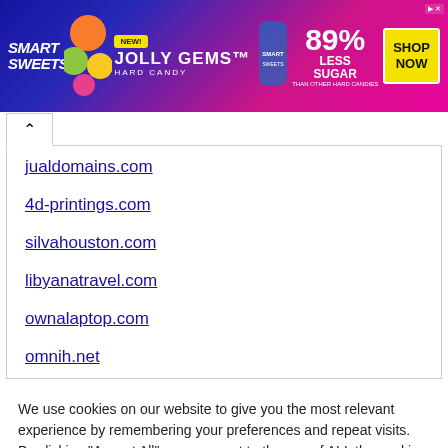[Figure (other): SmartSweets Jolly Gems Hard Candy advertisement banner. Blue and pink gradient background with candy imagery. Text reads: NEW! JOLLY GEMS HARD CANDY, SmartSweets, 89% LESS SUGAR THAN OTHER HARD CANDIES, SHOP NOW button. AdChoices icon top right.]
jualdomains.com
4d-printings.com
silvahouston.com
libyanatravel.com
ownalaptop.com
omnih.net
We use cookies on our website to give you the most relevant experience by remembering your preferences and repeat visits. By clicking "Accept All", you consent to the use of ALL the cookies. However, you may visit "Cookie Settings" to provide a controlled consent.